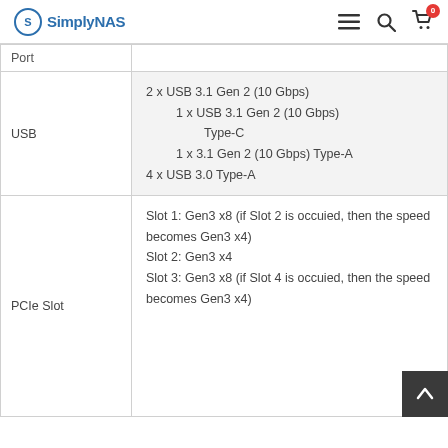SimplyNAS — navigation bar with logo, menu, search, and cart icons
| Label | Value |
| --- | --- |
| Port |  |
| USB | 2 x USB 3.1 Gen 2 (10 Gbps)
1 x USB 3.1 Gen 2 (10 Gbps) Type-C
1 x 3.1 Gen 2 (10 Gbps) Type-A
4 x USB 3.0 Type-A |
| PCIe Slot | Slot 1: Gen3 x8 (if Slot 2 is occuied, then the speed becomes Gen3 x4)
Slot 2: Gen3 x4
Slot 3: Gen3 x8 (if Slot 4 is occuied, then the speed becomes Gen3 x4)
Slot 4: Gen3 x4 |